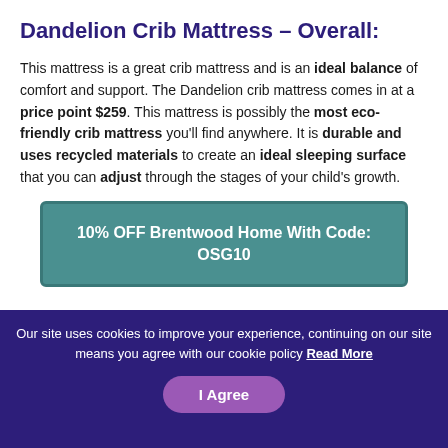Dandelion Crib Mattress – Overall:
This mattress is a great crib mattress and is an ideal balance of comfort and support. The Dandelion crib mattress comes in at a price point $259. This mattress is possibly the most eco-friendly crib mattress you'll find anywhere. It is durable and uses recycled materials to create an ideal sleeping surface that you can adjust through the stages of your child's growth.
10% OFF Brentwood Home With Code: OSG10
Our site uses cookies to improve your experience, continuing on our site means you agree with our cookie policy Read More
I Agree